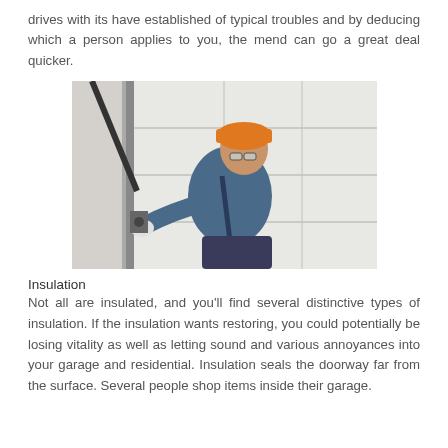drives with its have established of typical troubles and by deducing which a person applies to you, the mend can go a great deal quicker.
[Figure (photo): A man wearing an orange hard hat and safety glasses, dressed in a blue short-sleeve shirt and work overalls, working on a white paneled garage door, adjusting the metal track and hardware on the side.]
Insulation
Not all are insulated, and you'll find several distinctive types of insulation. If the insulation wants restoring, you could potentially be losing vitality as well as letting sound and various annoyances into your garage and residential. Insulation seals the doorway far from the surface. Several people shop items inside their garage.